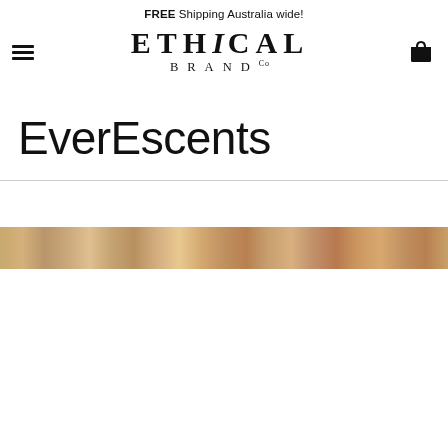FREE Shipping Australia wide!
[Figure (logo): Ethical Brand Co logo with hamburger menu icon on left and shopping cart icon on right]
EverEscents
[Figure (photo): A blurred strip of product images in warm amber and golden tones at the bottom of the page]